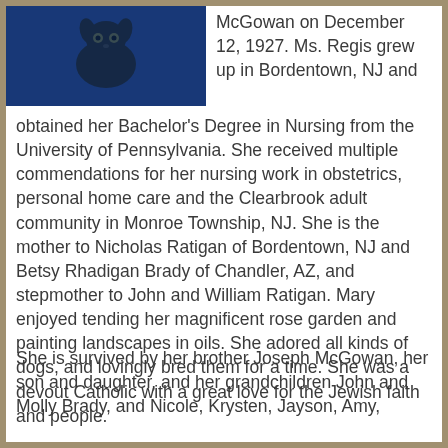[Figure (photo): Black and white/color photo of a dog with a blue-tinted background]
McGowan on December 12, 1927. Ms. Regis grew up in Bordentown, NJ and obtained her Bachelor's Degree in Nursing from the University of Pennsylvania.  She received multiple commendations for her nursing work in obstetrics, personal home care and the Clearbrook adult community in Monroe Township, NJ.  She is the mother to Nicholas Ratigan of Bordentown, NJ and Betsy Rhadigan Brady of Chandler, AZ, and stepmother to John and William Ratigan. Mary enjoyed tending her magnificent rose garden and painting landscapes in oils.  She adored all kinds of dogs, and lovingly bred them for a time.  She was a devout Catholic with a great love for the Jewish faith and people.
She is survived by her brother Joseph McGowan, her son and daughter, and her grandchildren John and Molly Brady, and Nicole, Krysten, Jayson, Amy,